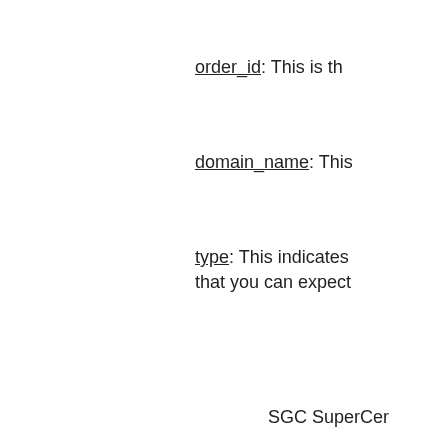order_id: This is th...
domain_name: This...
type: This indicates that you can expect...
SGC SuperCer...
Web Server Ce...
SSL123 Certif...
Wildcard Serve...
no_of_years: This i...
creation_date: This...
customer_id: This i...